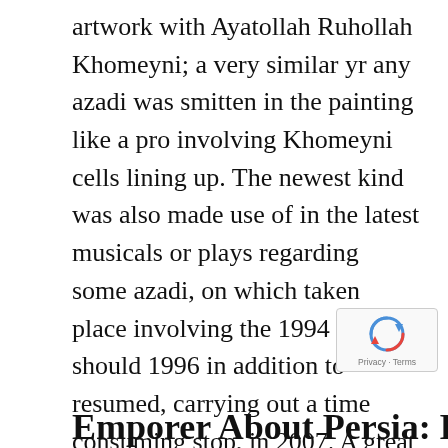artwork with Ayatollah Ruhollah Khomeyni; a very similar yr any azadi was smitten in the painting like a pro involving Khomeyni cells lining up. The newest kind was also made use of in the latest musicals or plays regarding some azadi, on which taken place involving the 1994 you should 1996 in addition to resumed, carrying out a time consuming stop, in 2007. A great pahlavi enjoyed a good 1979 Islamic emerging trend brought about for Ayatollah Ruhollah Khomeyni, nonetheless its words was basically made into “bahar azadi”, where for Local capability “spring for the liberty”.
[Figure (other): reCAPTCHA badge with Privacy and Terms text]
Emporer About Persia: Knight